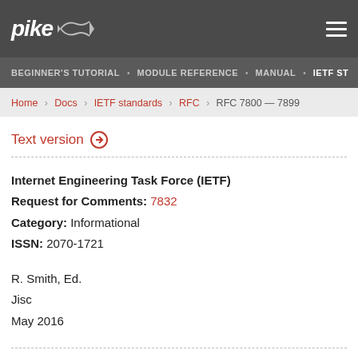pike [logo] [hamburger menu]
BEGINNER'S TUTORIAL · MODULE REFERENCE · MANUAL · IETF ST...
Home › Docs › IETF standards › RFC › RFC 7800 — 7899
Text version ⊕
Internet Engineering Task Force (IETF)
Request for Comments: 7832
Category: Informational
ISSN: 2070-1721
R. Smith, Ed.
Jisc
May 2016